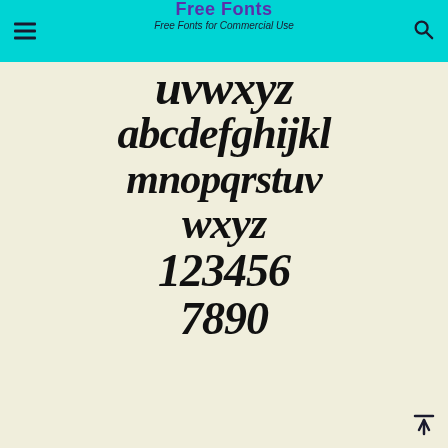Free Fonts — Free Fonts for Commercial Use
[Figure (illustration): Font specimen preview showing bold italic script/serif characters: uppercase UVWXYZ, lowercase abcdefghijkl, lowercase mnopqrstuv, lowercase wxyz, numerals 123456, numerals 7890 on a cream/beige background]